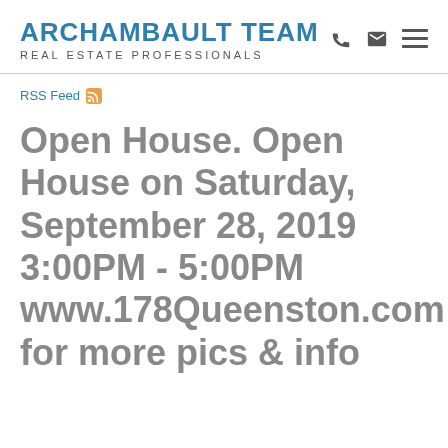ARCHAMBAULT TEAM
REAL ESTATE PROFESSIONALS
RSS Feed
Open House. Open House on Saturday, September 28, 2019 3:00PM - 5:00PM www.178Queenston.com for more pics & info